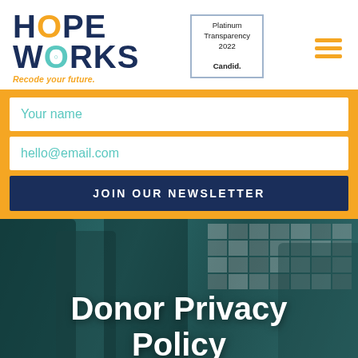[Figure (logo): Hope Works logo with orange O, teal U, tagline 'Recode your future.']
[Figure (other): Candid Platinum Transparency 2022 badge]
[Figure (other): Hamburger menu icon with three orange horizontal lines]
Your name
hello@email.com
JOIN OUR NEWSLETTER
Donor Privacy Policy
[Figure (photo): Group of people in a gallery-like space with black and white photos on wall, teal color overlay]